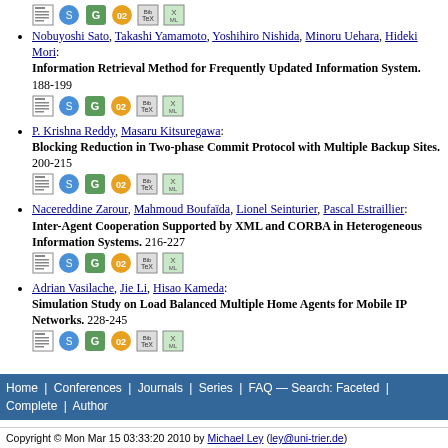Nobuyoshi Sato, Takashi Yamamoto, Yoshihiro Nishida, Minoru Uehara, Hideki Mori: Information Retrieval Method for Frequently Updated Information System. 188-199
P. Krishna Reddy, Masaru Kitsuregawa: Blocking Reduction in Two-phase Commit Protocol with Multiple Backup Sites. 200-215
Nacereddine Zarour, Mahmoud Boufaïda, Lionel Seinturier, Pascal Estraillier: Inter-Agent Cooperation Supported by XML and CORBA in Heterogeneous Information Systems. 216-227
Adrian Vasilache, Jie Li, Hisao Kameda: Simulation Study on Load Balanced Multiple Home Agents for Mobile IP Networks. 228-245
Home | Conferences | Journals | Series | FAQ — Search: Faceted | Complete | Author
Copyright © Mon Mar 15 03:33:20 2010 by Michael Ley (ley@uni-trier.de)